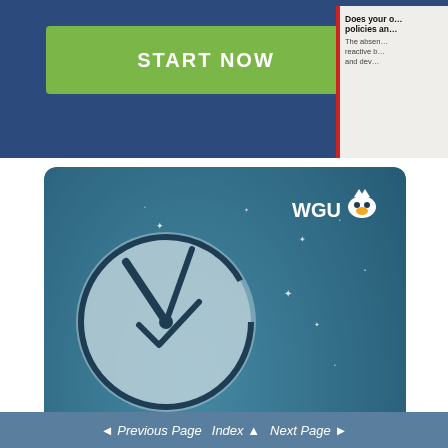[Figure (screenshot): Dark blue background banner with green 'START NOW' button on left and partial white paper/document on right showing text 'Does your o... policies an...' with red border]
[Figure (infographic): WGU advertisement with teal/blue background, clock illustration, stars, WGU logo with owl, and yellow text reading 'I GOT MY DEGREE ON MY SCHEDULE.']
[Figure (screenshot): Social media sidebar icons: Google+, Facebook, LinkedIn, Twitter, Share, StumbleUpon]
[Figure (logo): Parts Hangar logo with red/blue flag icon and company name, with CLICK HERE red button and 'Order Parts Found On This Website' text]
Previous Page  Index  Next Page